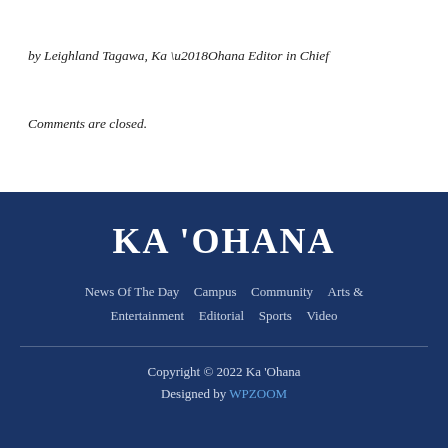by Leighland Tagawa, Ka ‘Ohana Editor in Chief
Comments are closed.
KA 'OHANA
News Of The Day  Campus  Community  Arts & Entertainment  Editorial  Sports  Video
Copyright © 2022 Ka 'Ohana
Designed by WPZOOM